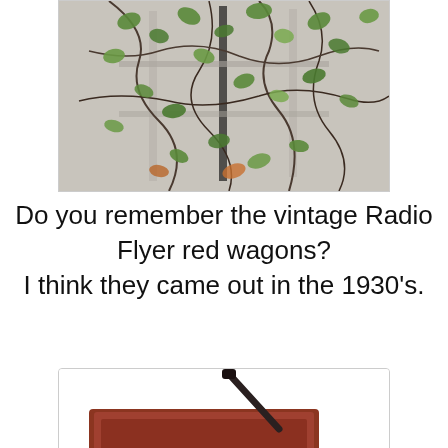[Figure (photo): A wall or trellis covered with vines and green leaves, with bare branches visible against a light-colored wall.]
Do you remember the vintage Radio Flyer red wagons?
I think they came out in the 1930's.
[Figure (photo): A vintage red Radio Flyer wagon with a dark handle, viewed from above at an angle, showing the red wagon bed and dark pull handle.]